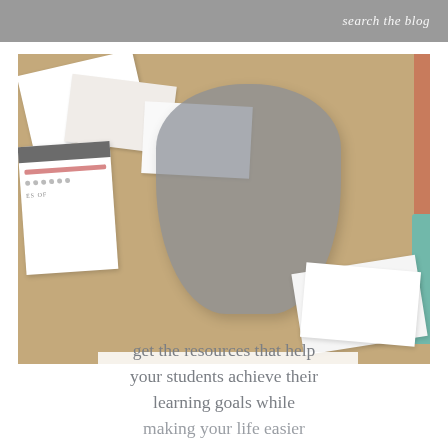search the blog
[Figure (photo): Overhead view of educational materials — scattered papers, flashcards, a gray fabric pouch/bag, on a cork/wood surface. Partially overlaid with white text box.]
get the resources that help your students achieve their learning goals while making your life easier